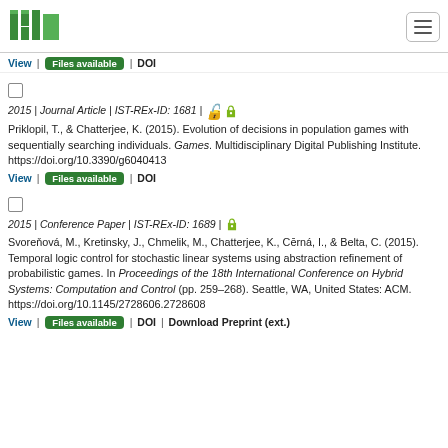ISTA
View | Files available | DOI
2015 | Journal Article | IST-REx-ID: 1681 | [open access icon]
Priklopil, T., & Chatterjee, K. (2015). Evolution of decisions in population games with sequentially searching individuals. Games. Multidisciplinary Digital Publishing Institute. https://doi.org/10.3390/g6040413
View | Files available | DOI
2015 | Conference Paper | IST-REx-ID: 1689 | [open access icon]
Svoreňová, M., Kretinsky, J., Chmelik, M., Chatterjee, K., Cērná, I., & Belta, C. (2015). Temporal logic control for stochastic linear systems using abstraction refinement of probabilistic games. In Proceedings of the 18th International Conference on Hybrid Systems: Computation and Control (pp. 259–268). Seattle, WA, United States: ACM. https://doi.org/10.1145/2728606.2728608
View | Files available | DOI | Download Preprint (ext.)